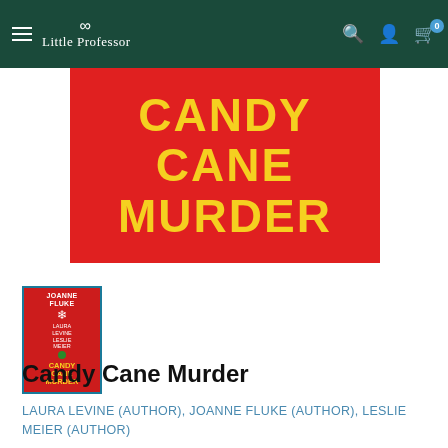Little Professor
[Figure (photo): Book cover of Candy Cane Murder showing yellow text on red background]
[Figure (photo): Thumbnail of Candy Cane Murder book cover with authors Joanne Fluke, Laura Levine, Leslie Meier]
Candy Cane Murder
LAURA LEVINE (AUTHOR), JOANNE FLUKE (AUTHOR), LESLIE MEIER (AUTHOR)